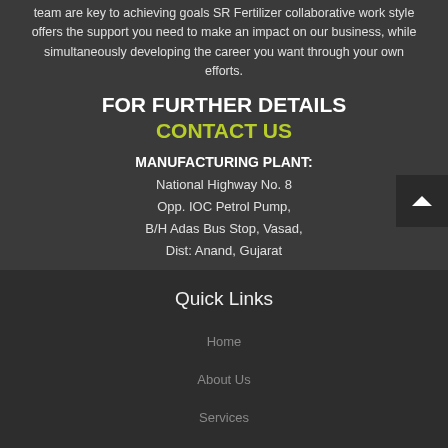team are key to achieving goals SR Fertilizer collaborative work style offers the support you need to make an impact on our business, while simultaneously developing the career you want through your own efforts.
FOR FURTHER DETAILS CONTACT US
MANUFACTURING PLANT: National Highway No. 8 Opp. IOC Petrol Pump, B/H Adas Bus Stop, Vasad, Dist: Anand, Gujarat
Quick Links
Home
About Us
Services